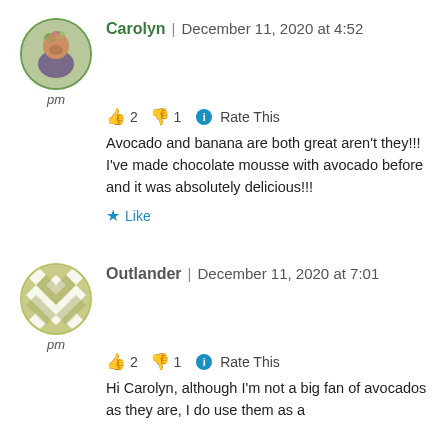[Figure (photo): Circular avatar photo of Carolyn, a woman with flowers/decorations in hair]
Carolyn | December 11, 2020 at 4:52 pm
👍 2 👎 1 ℹ Rate This
Avocado and banana are both great aren't they!!! I've made chocolate mousse with avocado before and it was absolutely delicious!!!
★ Like
[Figure (illustration): Circular avatar with diamond/geometric pattern in olive green and white]
Outlander | December 11, 2020 at 7:01 pm
👍 2 👎 1 ℹ Rate This
Hi Carolyn, although I'm not a big fan of avocados as they are, I do use them as a